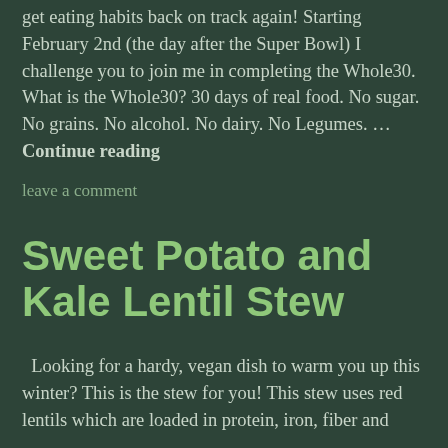get eating habits back on track again! Starting February 2nd (the day after the Super Bowl) I challenge you to join me in completing the Whole30. What is the Whole30? 30 days of real food. No sugar. No grains. No alcohol. No dairy. No Legumes. … Continue reading
leave a comment
Sweet Potato and Kale Lentil Stew
Looking for a hardy, vegan dish to warm you up this winter? This is the stew for you! This stew uses red lentils which are loaded in protein, iron, fiber and